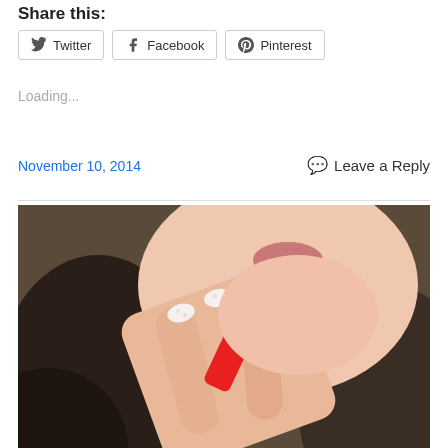Share this:
Twitter  Facebook  Pinterest
Loading...
November 10, 2014
Leave a Reply
[Figure (photo): Close-up photo of a person applying red lipstick with fingers near lips, dark hair visible, decorated nails with small rhinestones]